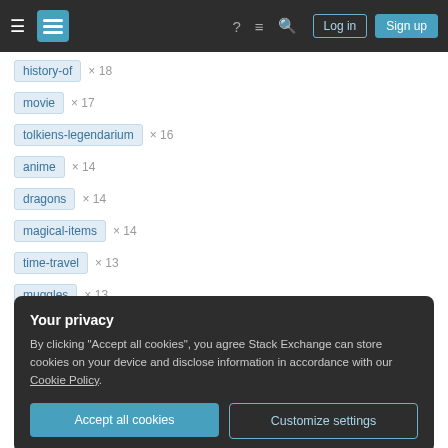Stack Exchange navigation bar with Log in and Sign up buttons
history-of × 18
movie × 17
tolkiens-legendarium × 16
anime × 14
dragons × 14
magical-items × 14
time-travel × 13
muggles × 13
Your privacy
By clicking "Accept all cookies", you agree Stack Exchange can store cookies on your device and disclose information in accordance with our Cookie Policy.
Accept all cookies | Customize settings
powers × 10